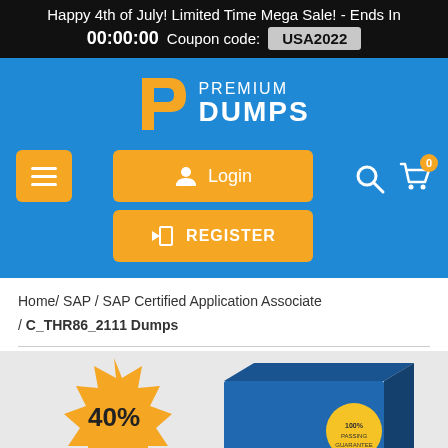Happy 4th of July! Limited Time Mega Sale! - Ends In 00:00:00 Coupon code: USA2022
[Figure (logo): Premium Dumps logo with orange P icon and white text PREMIUM DUMPS on blue background]
[Figure (screenshot): Navigation bar with hamburger menu button, Login and Register buttons in orange, search icon, and cart icon with badge 0]
Home / SAP / SAP Certified Application Associate / C_THR86_2111 Dumps
[Figure (photo): Product box image with 40% off starburst badge on grey background, showing a blue exam dumps box]